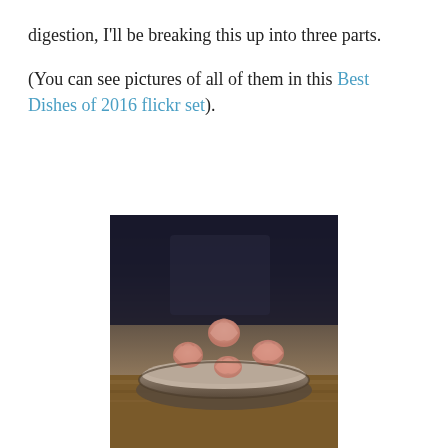digestion, I'll be breaking this up into three parts.

(You can see pictures of all of them in this Best Dishes of 2016 flickr set).
[Figure (photo): A photo of four rolled slices of pink cured meat (prosciutto or similar charcuterie) arranged on a round, rustic stone or aged cheese wheel resting on a wooden table. The background is dark and blurred.]